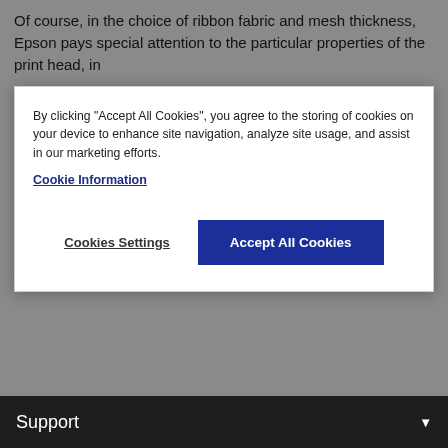Of course, in the choice of ribbon fabric and mesh thickness, Epson pays special attention to the particular properties of the print head, in
[Figure (screenshot): Cookie consent banner overlay with text: 'By clicking "Accept All Cookies", you agree to the storing of cookies on your device to enhance site navigation, analyze site usage, and assist in our marketing efforts.' with a 'Cookie Information' link, 'Cookies Settings' button, and 'Accept All Cookies' button in dark blue.]
from mechanical strain and chemical pollution are the important criteria which influence quality and perfect design.
Over and above the design, Epson places great importance on quality assurance during the production process. In doing so, Epson guarantees excellent product properties at all times and an optimum harmonisation with the main product - the Epson printer.
Support